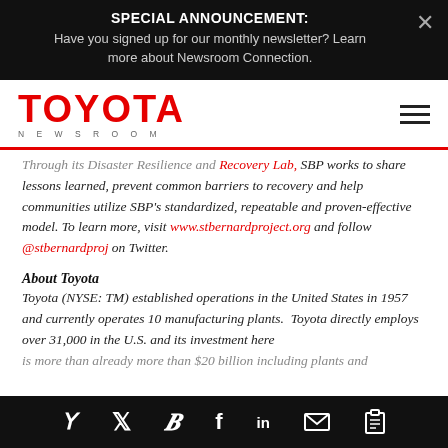SPECIAL ANNOUNCEMENT: Have you signed up for our monthly newsletter? Learn more about Newsroom Connection.
[Figure (logo): Toyota Newsroom logo in red with hamburger menu icon]
Through its Disaster Resilience and Recovery Lab, SBP works to share lessons learned, prevent common barriers to recovery and help communities utilize SBP's standardized, repeatable and proven-effective model. To learn more, visit www.stbernardproject.org and follow @stbernardproj on Twitter.
About Toyota
Toyota (NYSE: TM) established operations in the United States in 1957 and currently operates 10 manufacturing plants. Toyota directly employs over 31,000 in the U.S. and its investment here is more than already more than $20 billion including plants and
Social share icons: Twitter, Facebook, LinkedIn, Email, Clipboard